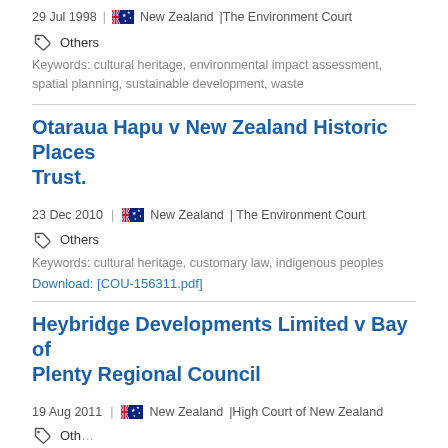29 Jul 1998  |  New Zealand | The Environment Court
Others
Keywords: cultural heritage, environmental impact assessment, spatial planning, sustainable development, waste
Otaraua Hapu v New Zealand Historic Places Trust.
23 Dec 2010  |  New Zealand | The Environment Court
Others
Keywords: cultural heritage, customary law, indigenous peoples
Download: [COU-156311.pdf]
Heybridge Developments Limited v Bay of Plenty Regional Council
19 Aug 2011  |  New Zealand | High Court of New Zealand
Others